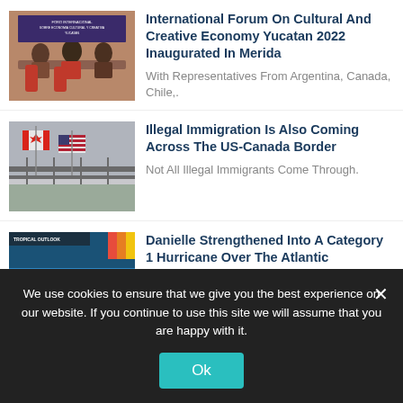[Figure (photo): People seated at tables at the International Forum on Cultural and Creative Economy Yucatan event, with banner visible in background]
International Forum On Cultural And Creative Economy Yucatan 2022 Inaugurated In Merida
With Representatives From Argentina, Canada, Chile,.
[Figure (photo): Canadian and American flags flying on poles against a grey sky]
Illegal Immigration Is Also Coming Across The US-Canada Border
Not All Illegal Immigrants Come Through.
[Figure (photo): Tropical outlook weather map showing a red oval storm formation over the Atlantic Ocean]
Danielle Strengthened Into A Category 1 Hurricane Over The Atlantic
For The First Time This Year,.
We use cookies to ensure that we give you the best experience on our website. If you continue to use this site we will assume that you are happy with it.